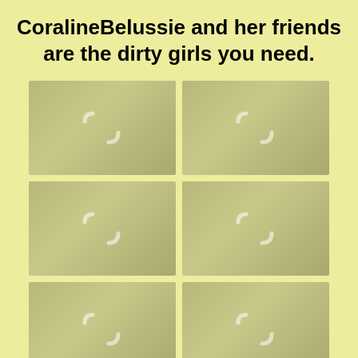CoralineBelussie and her friends are the dirty girls you need.
[Figure (photo): Grid of 6 blurred/placeholder video thumbnail images arranged in 2 columns and 3 rows, each showing a loading spinner icon on an olive-green gradient background]